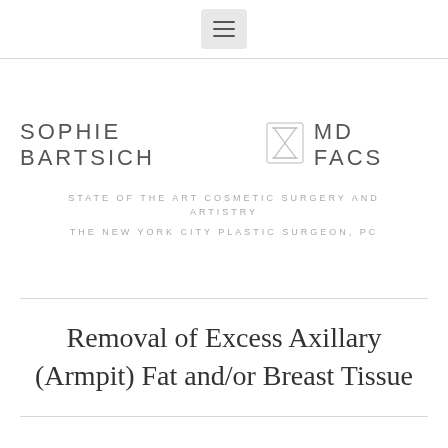[Figure (logo): Hamburger menu button (three horizontal lines) on light gray background]
SOPHIE BARTSICH MD FACS
STATE OF THE ART COSMETIC SURGERY AND ARTISTRY
THE NEW YORK CITY PLASTIC SURGEON, PC
Removal of Excess Axillary (Armpit) Fat and/or Breast Tissue